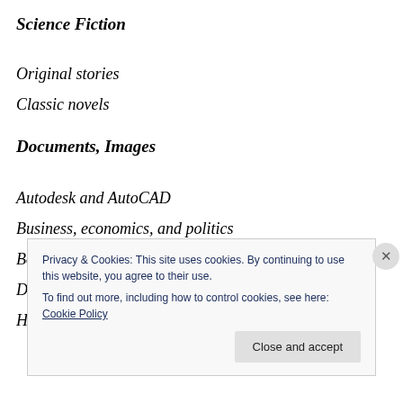Science Fiction
Original stories
Classic novels
Documents, Images
Autodesk and AutoCAD
Business, economics, and politics
Books on-line
Do it yourself
Humour
Privacy & Cookies: This site uses cookies. By continuing to use this website, you agree to their use.
To find out more, including how to control cookies, see here: Cookie Policy